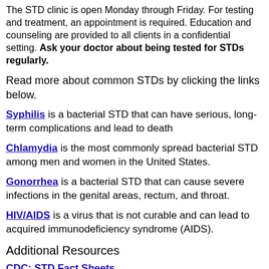The STD clinic is open Monday through Friday. For testing and treatment, an appointment is required. Education and counseling are provided to all clients in a confidential setting. Ask your doctor about being tested for STDs regularly.
Read more about common STDs by clicking the links below.
Syphilis is a bacterial STD that can have serious, long-term complications and lead to death
Chlamydia is the most commonly spread bacterial STD among men and women in the United States.
Gonorrhea is a bacterial STD that can cause severe infections in the genital areas, rectum, and throat.
HIV/AIDS is a virus that is not curable and can lead to acquired immunodeficiency syndrome (AIDS).
Additional Resources
CDC: STD Fact Sheets
FloridaHealth: Bureau of STD Prevention & Control